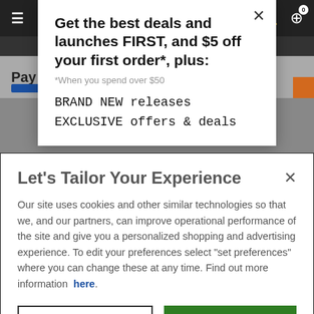[Figure (screenshot): Website navigation bar with hamburger menu, search icon, user icon, and cart icon with badge 0 on dark background]
Get the best deals and launches FIRST, and $5 off your first order*, plus:
*When you spend over $50
BRAND NEW releases
EXCLUSIVE offers & deals
Let's Tailor Your Experience
Our site uses cookies and other similar technologies so that we, and our partners, can improve operational performance of the site and give you a personalized shopping and advertising experience. To edit your preferences select "set preferences" where you can change these at any time. Find out more information here.
Set Preference
That's Ok